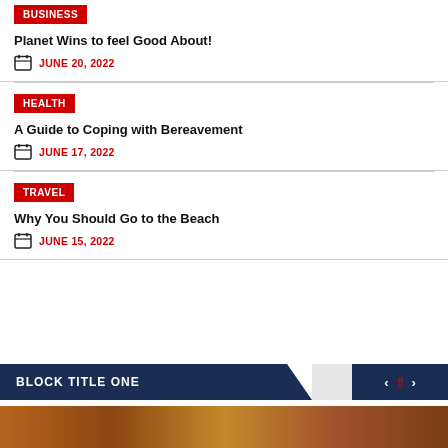BUSINESS
Planet Wins to feel Good About!
JUNE 20, 2022
HEALTH
A Guide to Coping with Bereavement
JUNE 17, 2022
TRAVEL
Why You Should Go to the Beach
JUNE 15, 2022
BLOCK TITLE ONE
[Figure (photo): Brown/earth-toned image strip at bottom of page]